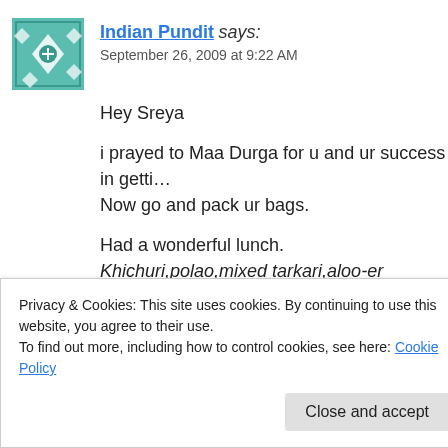[Figure (illustration): Teal and white geometric/floral avatar icon for Indian Pundit commenter]
Indian Pundit says:
September 26, 2009 at 9:22 AM
Hey Sreya
i prayed to Maa Durga for u and ur success in getti… Now go and pack ur bags.
Had a wonderful lunch.
Khichuri,polao,mixed tarkari,aloo-er dom,beguni a…
Though i dont like begun and payesh.
Cheers and enjoy pandal hopping.
Privacy & Cookies: This site uses cookies. By continuing to use this website, you agree to their use.
To find out more, including how to control cookies, see here: Cookie Policy